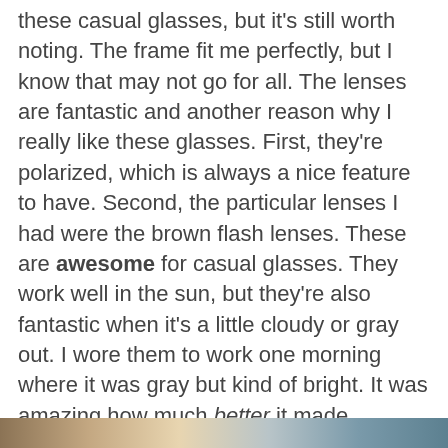these casual glasses, but it's still worth noting. The frame fit me perfectly, but I know that may not go for all. The lenses are fantastic and another reason why I really like these glasses. First, they're polarized, which is always a nice feature to have. Second, the particular lenses I had were the brown flash lenses. These are awesome for casual glasses. They work well in the sun, but they're also fantastic when it's a little cloudy or gray out. I wore them to work one morning where it was gray but kind of bright. It was amazing how much better it made everything look. I mean it really made the colors and everything looking better. I did the up-down glasses thing a couple of times to make sure I wasn't just seeing things.
[Figure (photo): Partial image strip at the bottom of the page, partially cropped]